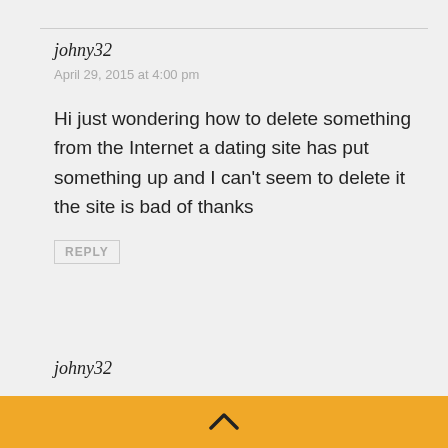johny32
April 29, 2015 at 4:00 pm
Hi just wondering how to delete something from the Internet a dating site has put something up and I can't seem to delete it the site is bad of thanks
REPLY
johny32